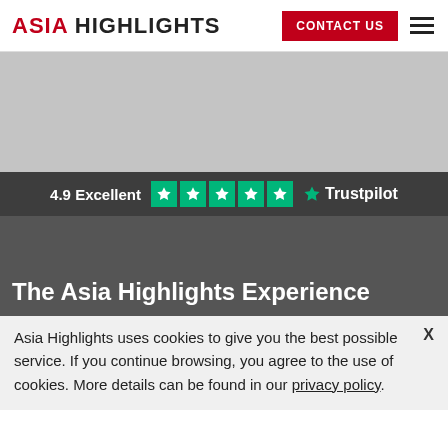ASIA HIGHLIGHTS — CONTACT US
[Figure (screenshot): Gray placeholder hero image area]
4.9 Excellent ★★★★★ Trustpilot
The Asia Highlights Experience
Asia Highlights uses cookies to give you the best possible service. If you continue browsing, you agree to the use of cookies. More details can be found in our privacy policy.